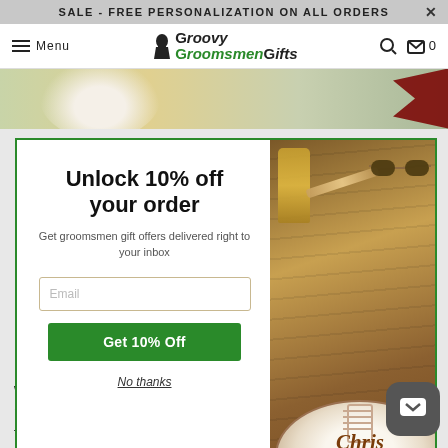SALE - FREE PERSONALIZATION ON ALL ORDERS
[Figure (logo): Groovy Groomsmen Gifts logo with top hat icon]
[Figure (photo): Hero image strip showing smiling groomsmen and a bowtie]
[Figure (photo): Popup modal with 10% off offer showing a personalized football reading 'Chris Will you be my Best Man?' alongside whiskey, cigar, and sunglasses on a wood background]
Unlock 10% off your order
Get groomsmen gift offers delivered right to your inbox
No thanks
Wireless Charging Pad: Let's face it, our phones are always running out of juice, making us panic. We live without those things. Then we're running around looking for somewhere to plug in.